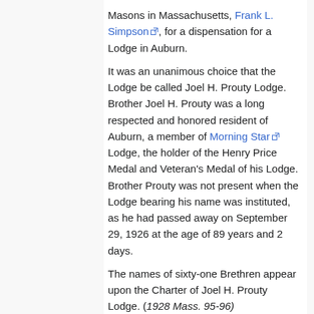Masons in Massachusetts, Frank L. Simpson, for a dispensation for a Lodge in Auburn.
It was an unanimous choice that the Lodge be called Joel H. Prouty Lodge. Brother Joel H. Prouty was a long respected and honored resident of Auburn, a member of Morning Star Lodge, the holder of the Henry Price Medal and Veteran's Medal of his Lodge. Brother Prouty was not present when the Lodge bearing his name was instituted, as he had passed away on September 29, 1926 at the age of 89 years and 2 days.
The names of sixty-one Brethren appear upon the Charter of Joel H. Prouty Lodge. (1928 Mass. 95-96)
Although not particularly specified in the Constitutions and Regulations of the Grand Lodge of Massachusetts, it has nevertheless become a precedent that only a Past Master shall serve as Master of a Lodge under dispensation, and the Most Worshipful Grand Master...